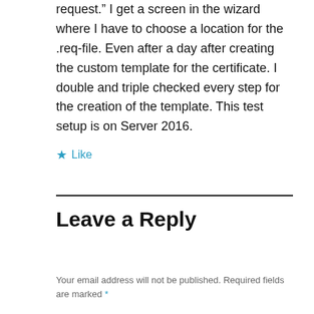request.” I get a screen in the wizard where I have to choose a location for the .req-file. Even after a day after creating the custom template for the certificate. I double and triple checked every step for the creation of the template. This test setup is on Server 2016.
★ Like
Leave a Reply
Your email address will not be published. Required fields are marked *